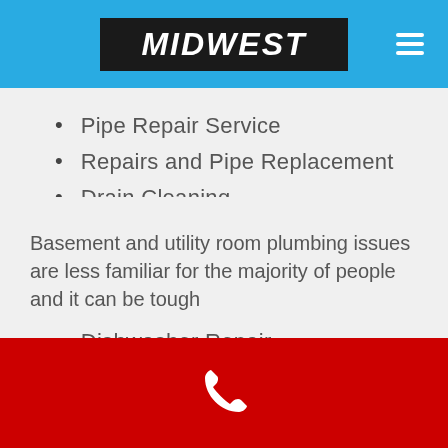[Figure (logo): Midwest logo in black box on blue header bar with hamburger menu icon]
Pipe Repair Service
Repairs and Pipe Replacement
Drain Cleaning
New Fixture Installation
Water Line Repair
Faucet Repair Service
Dishwasher Repair
Garbage Disposal
Ice Makers
Leak Repair
Camera Inspection
Basement and utility room plumbing issues are less familiar for the majority of people and it can be tough
[Figure (illustration): White phone icon on red footer bar]